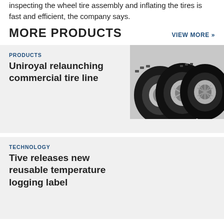inspecting the wheel tire assembly and inflating the tires is fast and efficient, the company says.
MORE PRODUCTS
VIEW MORE »
PRODUCTS
Uniroyal relaunching commercial tire line
[Figure (photo): Stack of three commercial tires on rims, black and white photo]
TECHNOLOGY
Tive releases new reusable temperature logging label